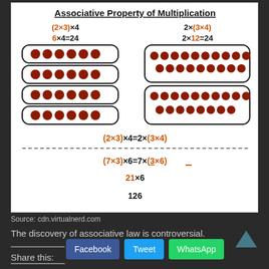[Figure (illustration): Educational diagram showing Associative Property of Multiplication with dot arrays and equations: (2×3)×4 = 2×(3×4), 6×4=24, 2×12=24, (7×3)×6=7×(3×6), 21×6, 126]
Source: cdn.virtualnerd.com
The discovery of associative law is controversial.
Share this:
Facebook   Tweet   WhatsApp